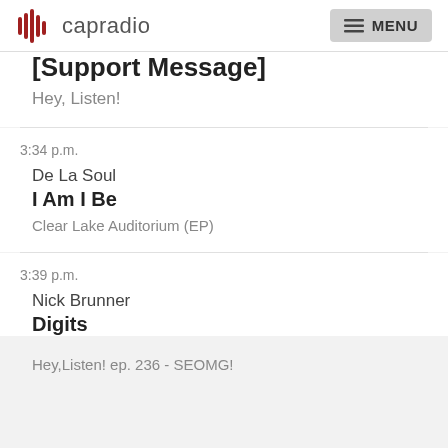capradio | MENU
[Support Message]
Hey, Listen!
3:34 p.m.
De La Soul
I Am I Be
Clear Lake Auditorium (EP)
3:39 p.m.
Nick Brunner
Digits
Hey,Listen! ep. 236 - SEOMG!